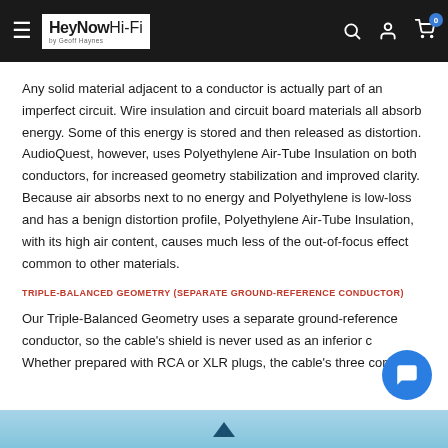HeyNow Hi-Fi by Geoff Haynes
Any solid material adjacent to a conductor is actually part of an imperfect circuit. Wire insulation and circuit board materials all absorb energy. Some of this energy is stored and then released as distortion. AudioQuest, however, uses Polyethylene Air-Tube Insulation on both conductors, for increased geometry stabilization and improved clarity. Because air absorbs next to no energy and Polyethylene is low-loss and has a benign distortion profile, Polyethylene Air-Tube Insulation, with its high air content, causes much less of the out-of-focus effect common to other materials.
TRIPLE-BALANCED GEOMETRY (SEPARATE GROUND-REFERENCE CONDUCTOR)
Our Triple-Balanced Geometry uses a separate ground-reference conductor, so the cable's shield is never used as an inferior c... Whether prepared with RCA or XLR plugs, the cable's three con...